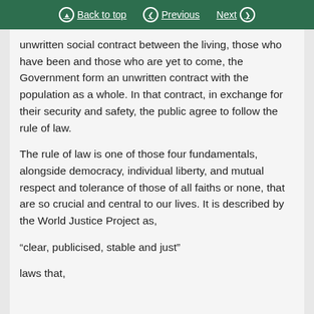Back to top | Previous | Next
unwritten social contract between the living, those who have been and those who are yet to come, the Government form an unwritten contract with the population as a whole. In that contract, in exchange for their security and safety, the public agree to follow the rule of law.
The rule of law is one of those four fundamentals, alongside democracy, individual liberty, and mutual respect and tolerance of those of all faiths or none, that are so crucial and central to our lives. It is described by the World Justice Project as,
“clear, publicised, stable and just”
laws that,